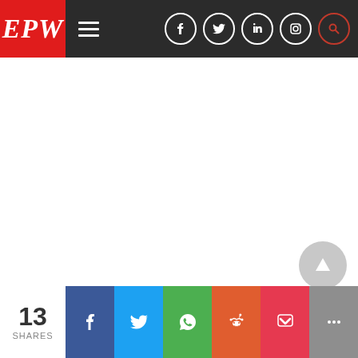EPW
[Figure (screenshot): White content area - blank page body of EPW website]
[Figure (infographic): Social share bar with 13 SHARES count and buttons for Facebook, Twitter, WhatsApp, Reddit, Pocket, More]